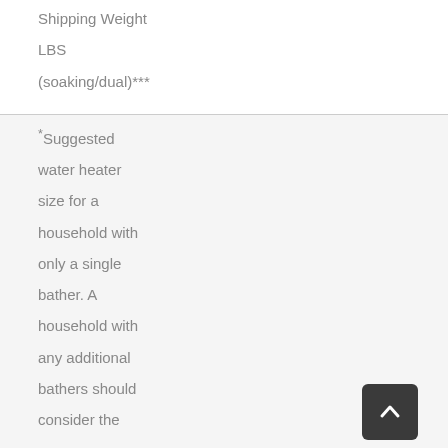Shipping Weight
LBS
(soaking/dual)***
*Suggested water heater size for a household with only a single bather. A household with any additional bathers should consider the